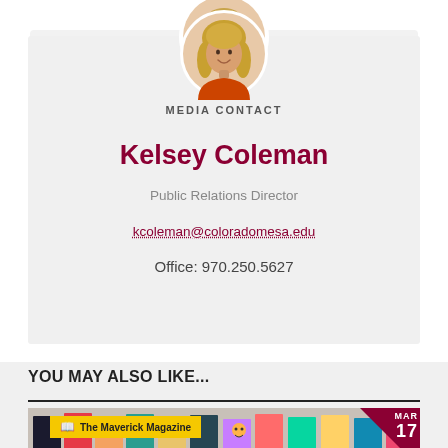[Figure (photo): Circular portrait photo of Kelsey Coleman, a woman with long blonde hair wearing an orange top]
MEDIA CONTACT
Kelsey Coleman
Public Relations Director
kcoleman@coloradomesa.edu
Office: 970.250.5627
YOU MAY ALSO LIKE...
[Figure (photo): Photo of colorful magazine covers displayed on a wall with a yellow label reading 'The Maverick Magazine' and a date badge showing MAR 17]